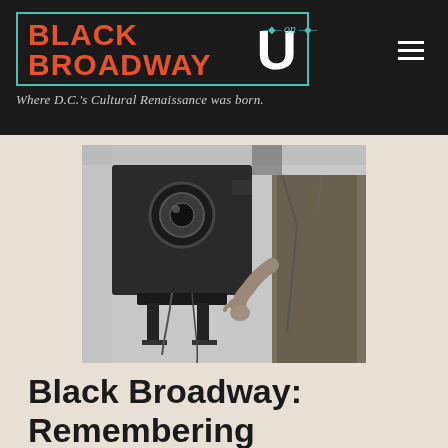BLACK ON BROADWAY U — Where D.C.'s Cultural Renaissance was born.
[Figure (photo): Black and white photograph of a person operating or standing next to a large vintage camera on a tripod, shown from torso level.]
Black Broadway: Remembering Addison Scurlock